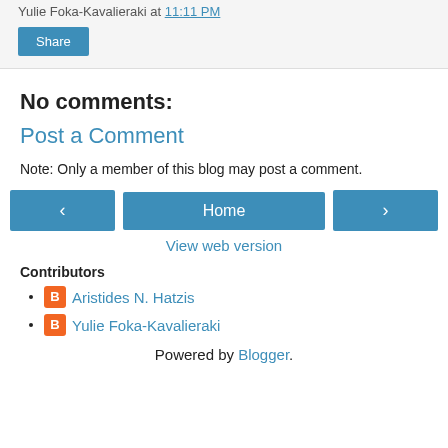Yulie Foka-Kavalieraki at 11:11 PM
Share
No comments:
Post a Comment
Note: Only a member of this blog may post a comment.
‹  Home  ›
View web version
Contributors
Aristides N. Hatzis
Yulie Foka-Kavalieraki
Powered by Blogger.